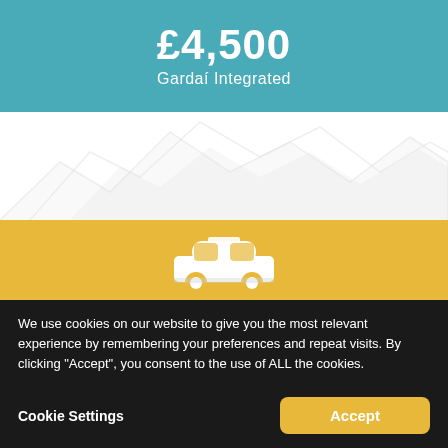£4,500 Gardaí Integrated
[Figure (illustration): White mountain/landscape outline silhouette on white background]
[Figure (illustration): White car icon on yellow/gold background]
We use cookies on our website to give you the most relevant experience by remembering your preferences and repeat visits. By clicking "Accept", you consent to the use of ALL the cookies.
Cookie Settings
Accept